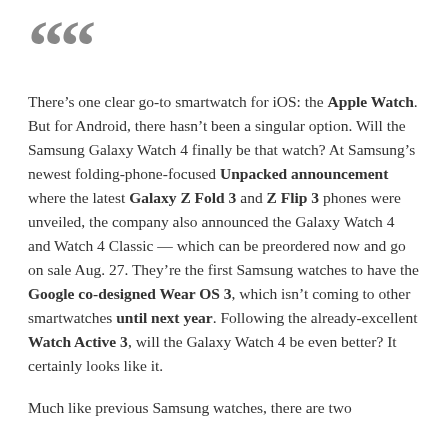““
There’s one clear go-to smartwatch for iOS: the Apple Watch. But for Android, there hasn’t been a singular option. Will the Samsung Galaxy Watch 4 finally be that watch? At Samsung’s newest folding-phone-focused Unpacked announcement where the latest Galaxy Z Fold 3 and Z Flip 3 phones were unveiled, the company also announced the Galaxy Watch 4 and Watch 4 Classic — which can be preordered now and go on sale Aug. 27. They’re the first Samsung watches to have the Google co-designed Wear OS 3, which isn’t coming to other smartwatches until next year. Following the already-excellent Watch Active 3, will the Galaxy Watch 4 be even better? It certainly looks like it.
Much like previous Samsung watches, there are two